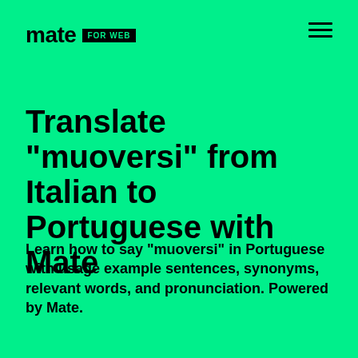mate FOR WEB
Translate "muoversi" from Italian to Portuguese with Mate
Learn how to say "muoversi" in Portuguese with usage example sentences, synonyms, relevant words, and pronunciation. Powered by Mate.